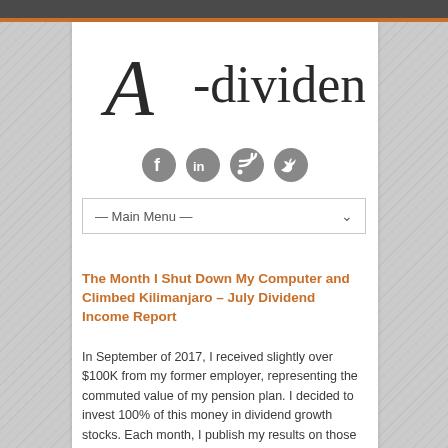[Figure (logo): A-dividend cursive and serif logo]
[Figure (infographic): Social media icons: Facebook, LinkedIn, RSS, Twitter]
— Main Menu —
The Month I Shut Down My Computer and Climbed Kilimanjaro – July Dividend Income Report
In September of 2017, I received slightly over $100K from my former employer, representing the commuted value of my pension plan. I decided to invest 100% of this money in dividend growth stocks. Each month, I publish my results on those investments. I don't do this to brag. I do t